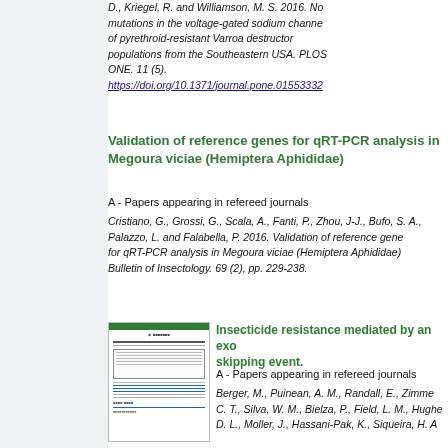D., Kriegel, R. and Williamson, M. S. 2016. Novel mutations in the voltage-gated sodium channel of pyrethroid-resistant Varroa destructor populations from the Southeastern USA. PLOS ONE. 11 (5). https://doi.org/10.1371/journal.pone.0155332
Validation of reference genes for qRT-PCR analysis in Megoura viciae (Hemiptera Aphididae)
A - Papers appearing in refereed journals
Cristiano, G., Grossi, G., Scala, A., Fanti, P., Zhou, J-J., Bufo, S. A., Palazzo, L. and Falabella, P. 2016. Validation of reference genes for qRT-PCR analysis in Megoura viciae (Hemiptera Aphididae). Bulletin of Insectology. 69 (2), pp. 229-238.
[Figure (screenshot): Thumbnail image of a document page with green header, title text, abstract box, and blue hyperlinks]
Insecticide resistance mediated by an exon skipping event.
A - Papers appearing in refereed journals
Berger, M., Puinean, A. M., Randall, E., Zimmer, C. T., Silva, W. M., Bielza, P., Field, L. M., Hughe D. L., Moller, J., Hassani-Pak, K., Siqueira, H. A...